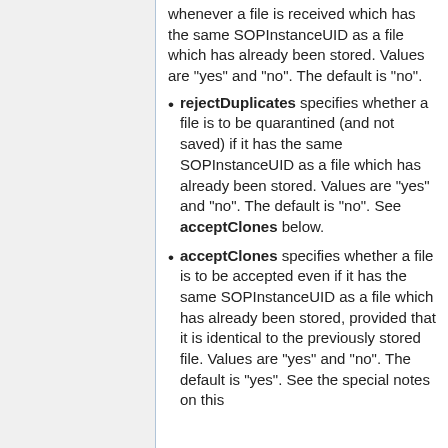whenever a file is received which has the same SOPInstanceUID as a file which has already been stored. Values are "yes" and "no". The default is "no".
rejectDuplicates specifies whether a file is to be quarantined (and not saved) if it has the same SOPInstanceUID as a file which has already been stored. Values are "yes" and "no". The default is "no". See acceptClones below.
acceptClones specifies whether a file is to be accepted even if it has the same SOPInstanceUID as a file which has already been stored, provided that it is identical to the previously stored file. Values are "yes" and "no". The default is "yes". See the special notes on this